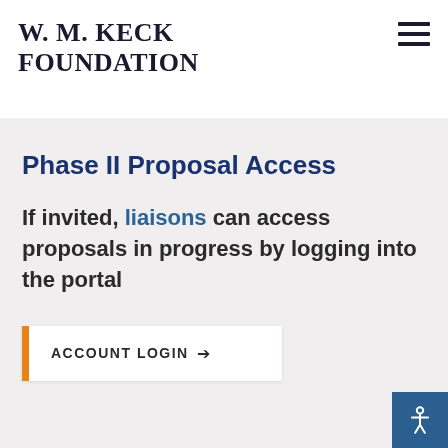W. M. KECK FOUNDATION
Phase II Proposal Access
If invited, liaisons can access proposals in progress by logging into the portal
ACCOUNT LOGIN →